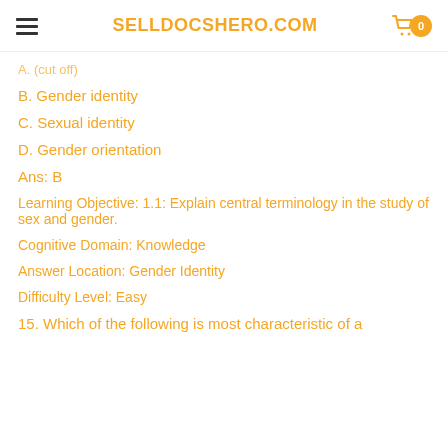SELLDOCSHERO.COM
A. (cut off)
B. Gender identity
C. Sexual identity
D. Gender orientation
Ans: B
Learning Objective: 1.1: Explain central terminology in the study of sex and gender.
Cognitive Domain: Knowledge
Answer Location: Gender Identity
Difficulty Level: Easy
15. Which of the following is most characteristic of a